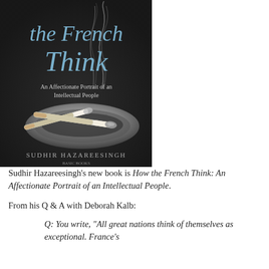[Figure (photo): Book cover of 'How the French Think: An Affectionate Portrait of an Intellectual People' by Sudhir Hazareesingh. Dark background with a cigarette resting in an ashtray with smoke rising, and large blue italic text of the title.]
Sudhir Hazareesingh's new book is How the French Think: An Affectionate Portrait of an Intellectual People.
From his Q & A with Deborah Kalb:
Q: You write, "All great nations think of themselves as exceptional. France's